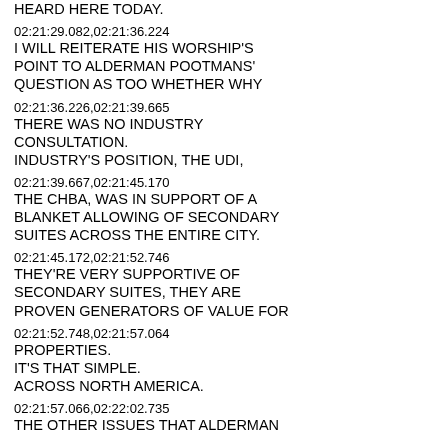HEARD HERE TODAY.
02:21:29.082,02:21:36.224
I WILL REITERATE HIS WORSHIP'S
POINT TO ALDERMAN POOTMANS'
QUESTION AS TOO WHETHER WHY
02:21:36.226,02:21:39.665
THERE WAS NO INDUSTRY
CONSULTATION.
INDUSTRY'S POSITION, THE UDI,
02:21:39.667,02:21:45.170
THE CHBA, WAS IN SUPPORT OF A
BLANKET ALLOWING OF SECONDARY
SUITES ACROSS THE ENTIRE CITY.
02:21:45.172,02:21:52.746
THEY'RE VERY SUPPORTIVE OF
SECONDARY SUITES, THEY ARE
PROVEN GENERATORS OF VALUE FOR
02:21:52.748,02:21:57.064
PROPERTIES.
IT'S THAT SIMPLE.
ACROSS NORTH AMERICA.
02:21:57.066,02:22:02.735
THE OTHER ISSUES THAT ALDERMAN